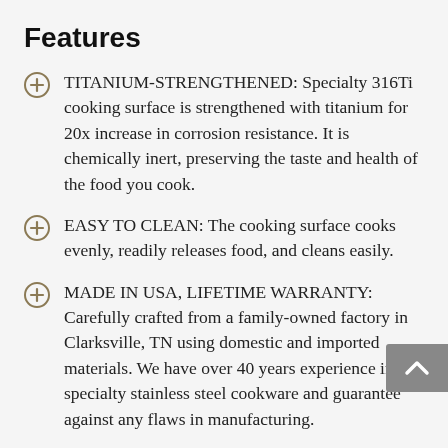Features
TITANIUM-STRENGTHENED: Specialty 316Ti cooking surface is strengthened with titanium for 20x increase in corrosion resistance. It is chemically inert, preserving the taste and health of the food you cook.
EASY TO CLEAN: The cooking surface cooks evenly, readily releases food, and cleans easily.
MADE IN USA, LIFETIME WARRANTY: Carefully crafted from a family-owned factory in Clarksville, TN using domestic and imported materials. We have over 40 years experience in specialty stainless steel cookware and guarantee against any flaws in manufacturing.
ERGONOMIC STAY COOL HANDLE: We use a